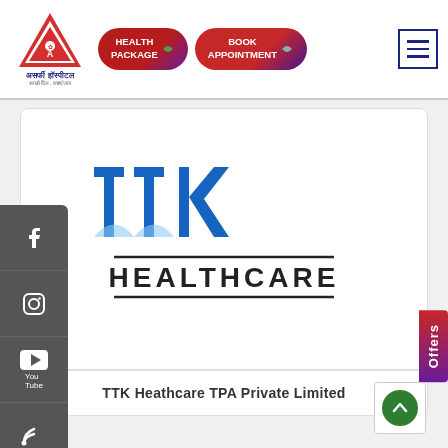[Figure (logo): Asarfi Hospital logo - red triangle with 'A' symbol and Hindi text below]
[Figure (other): Health Package button - red/purple gradient pill button with leaf icon]
[Figure (other): Book Appointment button - red/purple gradient pill button with leaf icon]
[Figure (other): Hamburger menu icon in blue border box]
[Figure (logo): TTK Healthcare logo - blue stylized ttk letters with HEALTHCARE text below and horizontal lines]
TTK Heathcare TPA Private Limited
[Figure (illustration): Partial blue leaf/plant illustration at bottom left]
[Figure (other): Offers vertical tab on right side - purple/red gradient]
[Figure (other): Facebook icon on gray sidebar]
[Figure (other): Instagram icon on gray sidebar]
[Figure (other): YouTube icon on gray sidebar]
[Figure (other): RSS/WiFi icon on gray sidebar]